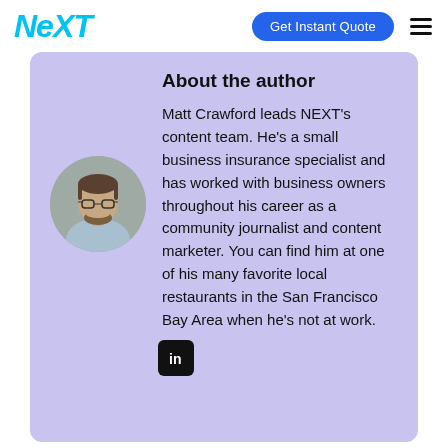NEXT | Get Instant Quote
About the author
Matt Crawford leads NEXT's content team. He's a small business insurance specialist and has worked with business owners throughout his career as a community journalist and content marketer. You can find him at one of his many favorite local restaurants in the San Francisco Bay Area when he's not at work.
[Figure (photo): Circular headshot of Matt Crawford, a man with glasses and a beard wearing a light blue shirt, against a gray background]
[Figure (logo): LinkedIn logo icon — white 'in' on black rounded square background]